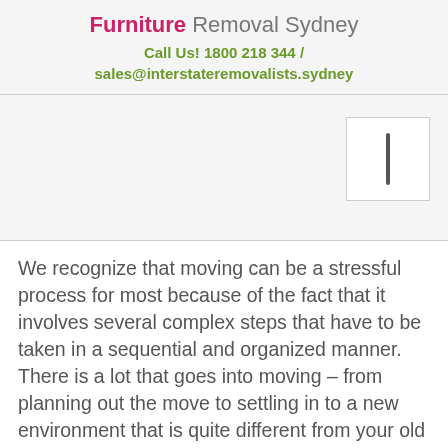Furniture Removal Sydney
Call Us! 1800 218 344 / sales@interstateremovalists.sydney
[Figure (other): Search box UI element with a vertical bar/cursor icon on a light grey background]
We recognize that moving can be a stressful process for most because of the fact that it involves several complex steps that have to be taken in a sequential and organized manner. There is a lot that goes into moving – from planning out the move to settling in to a new environment that is quite different from your old one. All of this can lead to stress and anxiety that can take away all the fun of moving to a new state. When you are involved  with the minor details of the move, you feel more stressed because you are not able to think